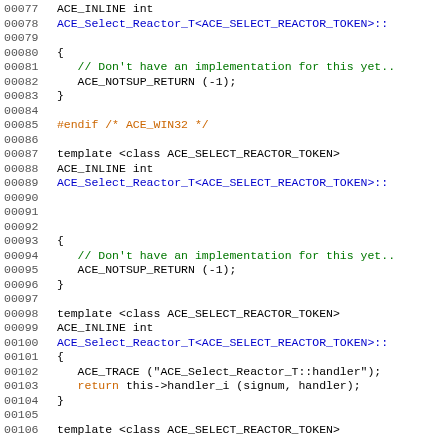[Figure (screenshot): Source code listing showing C++ template code for ACE_Select_Reactor_T with line numbers 00077-00106, syntax highlighted in multiple colors (black, blue, green, orange/red) on white background]